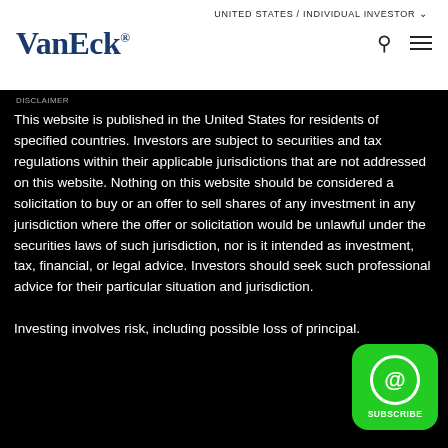UNITED STATES / INDIVIDUAL INVESTOR
[Figure (logo): VanEck logo in dark navy blue serif font with registered trademark symbol]
This website is published in the United States for residents of specified countries. Investors are subject to securities and tax regulations within their applicable jurisdictions that are not addressed on this website. Nothing on this website should be considered a solicitation to buy or an offer to sell shares of any investment in any jurisdiction where the offer or solicitation would be unlawful under the securities laws of such jurisdiction, nor is it intended as investment, tax, financial, or legal advice. Investors should seek such professional advice for their particular situation and jurisdiction.
Investing involves risk, including possible loss of principal.